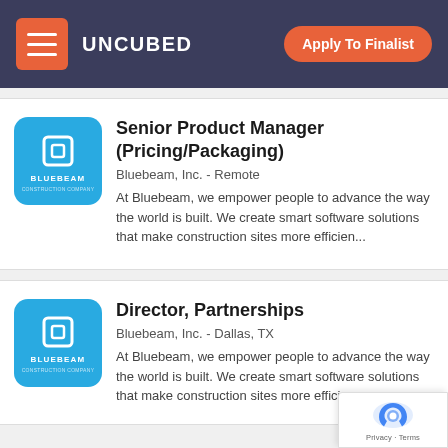UNCUBED | Apply To Finalist
Senior Product Manager (Pricing/Packaging)
Bluebeam, Inc. - Remote
At Bluebeam, we empower people to advance the way the world is built. We create smart software solutions that make construction sites more efficien...
Director, Partnerships
Bluebeam, Inc. - Dallas, TX
At Bluebeam, we empower people to advance the way the world is built. We create smart software solutions that make construction sites more efficien...